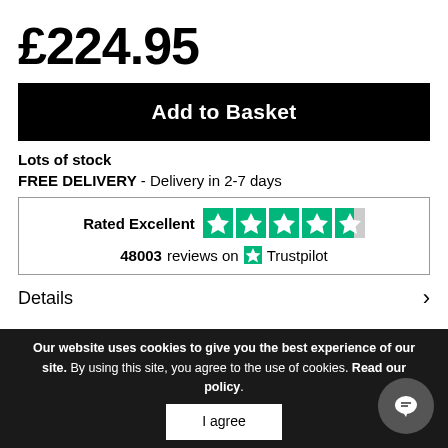£224.95
Add to Basket
Lots of stock
FREE DELIVERY - Delivery in 2-7 days
[Figure (other): Trustpilot rating box: Rated Excellent with 4.5 green stars, 48003 reviews on Trustpilot]
Details
Our website uses cookies to give you the best experience of our site. By using this site, you agree to the use of cookies. Read our policy.
I agree